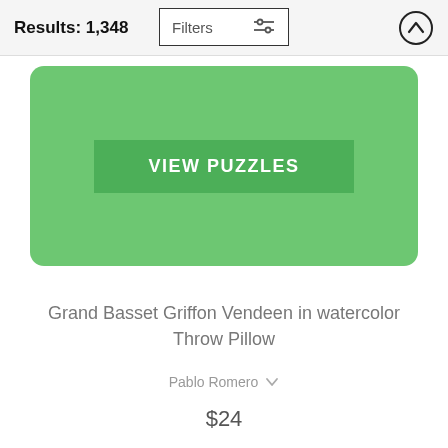Results: 1,348
[Figure (screenshot): Filters button with sliders icon]
[Figure (screenshot): Up arrow circle button]
[Figure (screenshot): Green rounded card with VIEW PUZZLES button]
Grand Basset Griffon Vendeen in watercolor Throw Pillow
Pablo Romero
$24